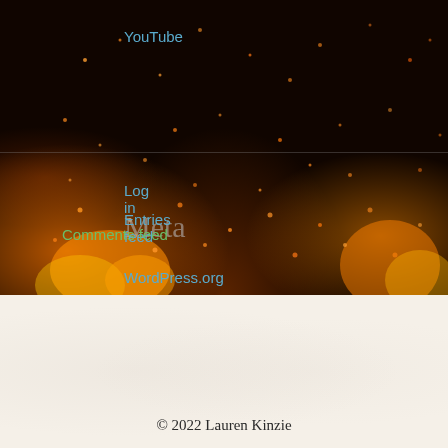YouTube
Meta
Log in
Entries feed
Comments feed
WordPress.org
[Figure (photo): Dark background with glowing orange and yellow ember/fire particles scattered across the image, with flames visible at the bottom left and right edges]
Home | Get to Know L E Kinzie | Blog | Buy the Book | VIDEOS, EVENTS, & STUFF | Contact
© 2022 Lauren Kinzie